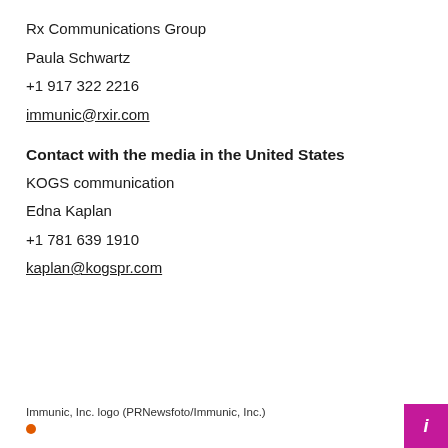Rx Communications Group
Paula Schwartz
+1 917 322 2216
immunic@rxir.com
Contact with the media in the United States
KOGS communication
Edna Kaplan
+1 781 639 1910
kaplan@kogspr.com
Immunic, Inc. logo (PRNewsfoto/Immunic, Inc.)